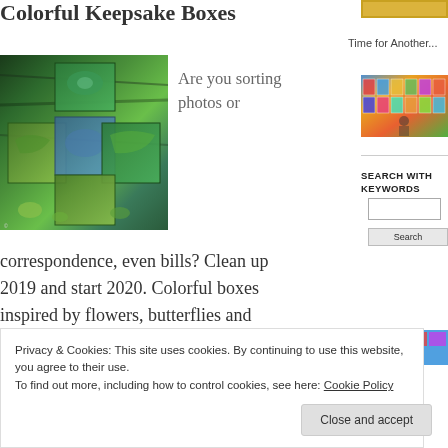Colorful Keepsake Boxes
[Figure (photo): Colorful decorated keepsake boxes with nature-inspired designs, stacked outdoors against a tree bark background]
Are you sorting photos or
Time for Another...
[Figure (photo): Colorful art prints displayed at what appears to be a market stall]
correspondence, even bills? Clean up 2019 and start 2020. Colorful boxes inspired by flowers, butterflies and
SEARCH WITH KEYWORDS
Privacy & Cookies: This site uses cookies. By continuing to use this website, you agree to their use.
To find out more, including how to control cookies, see here: Cookie Policy
Close and accept